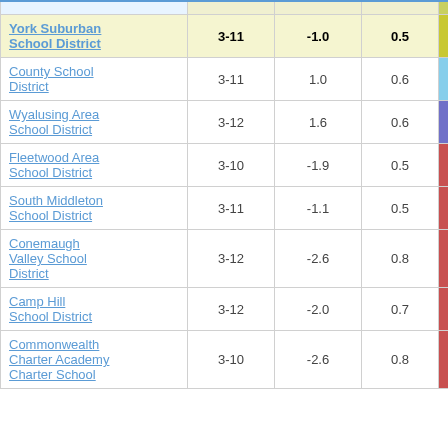| School District | Grades | Col3 | Col4 | Score |
| --- | --- | --- | --- | --- |
| York Suburban School District | 3-11 | -1.0 | 0.5 | -2.00 |
| County School District | 3-11 | 1.0 | 0.6 | 1.54 |
| Wyalusing Area School District | 3-12 | 1.6 | 0.6 | 2.51 |
| Fleetwood Area School District | 3-10 | -1.9 | 0.5 | -3.73 |
| South Middleton School District | 3-11 | -1.1 | 0.5 | -2.15 |
| Conemaugh Valley School District | 3-12 | -2.6 | 0.8 | -3.10 |
| Camp Hill School District | 3-12 | -2.0 | 0.7 | -3.08 |
| Commonwealth Charter Academy Charter School | 3-10 | -2.6 | 0.8 | -3.07 |